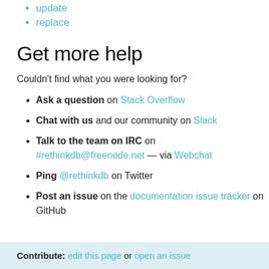update
replace
Get more help
Couldn't find what you were looking for?
Ask a question on Stack Overflow
Chat with us and our community on Slack
Talk to the team on IRC on #rethinkdb@freenode.net — via Webchat
Ping @rethinkdb on Twitter
Post an issue on the documentation issue tracker on GitHub
Contribute: edit this page or open an issue